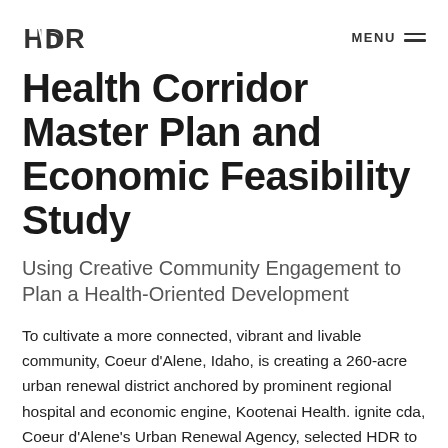HDR | MENU
Health Corridor Master Plan and Economic Feasibility Study
Using Creative Community Engagement to Plan a Health-Oriented Development
To cultivate a more connected, vibrant and livable community, Coeur d'Alene, Idaho, is creating a 260-acre urban renewal district anchored by prominent regional hospital and economic engine, Kootenai Health. ignite cda, Coeur d'Alene's Urban Renewal Agency, selected HDR to develop a health corridor master plan and economic feasibility study.